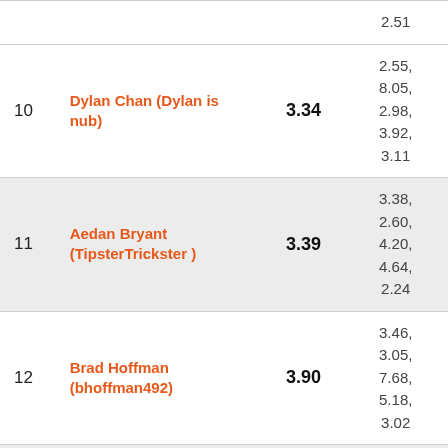| # | Name | Avg | Scores |
| --- | --- | --- | --- |
|  |  |  | 2.51 |
| 10 | Dylan Chan (Dylan is nub) | 3.34 | 2.55, 8.05, 2.98, 3.92, 3.11 |
| 11 | Aedan Bryant (TipsterTrickster ) | 3.39 | 3.38, 2.60, 4.20, 4.64, 2.24 |
| 12 | Brad Hoffman (bhoffman492) | 3.90 | 3.46, 3.05, 7.68, 5.18, 3.02 |
| 13 | Zayn Khanani (Legomanz) | 3.99 | 2.68, 4.45, 6.04, 4.66, 2.86 |